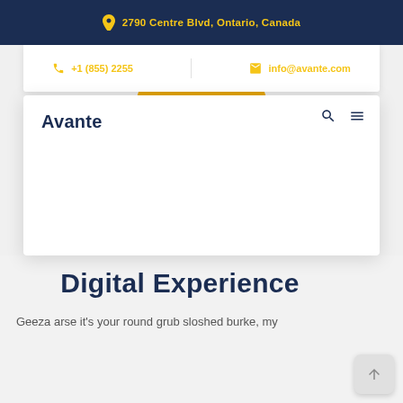2790 Centre Blvd, Ontario, Canada
+1 (855) 2255 | info@avante.com
[Figure (screenshot): Website navigation screenshot showing Avante brand logo, search and menu icons, golden circle decorative element, contact bar with phone and email, and location address in dark navy header bar]
Digital Experience
Geeza arse it's your round grub sloshed burke, my